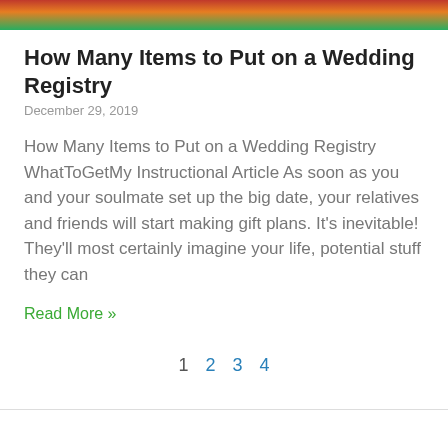[Figure (photo): Partial floral image strip at top of page showing flowers in red, orange, and green colors]
How Many Items to Put on a Wedding Registry
December 29, 2019
How Many Items to Put on a Wedding Registry WhatToGetMy Instructional Article As soon as you and your soulmate set up the big date, your relatives and friends will start making gift plans. It's inevitable! They'll most certainly imagine your life, potential stuff they can
Read More »
1  2  3  4